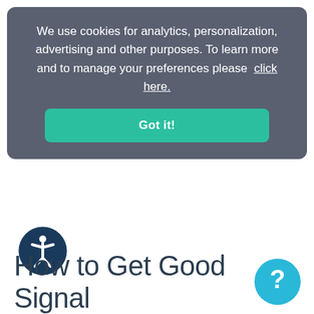We use cookies for analytics, personalization, advertising and other purposes. To learn more and to manage your preferences please click here.
Got it!
[Figure (illustration): Accessibility icon: a person figure inside a dark blue circle]
How to Get Good Signal
[Figure (illustration): Light blue speech bubble with question mark icon]